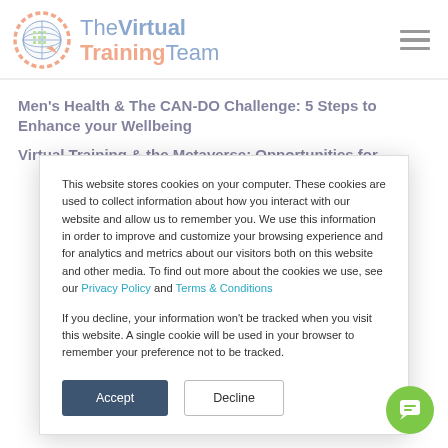[Figure (logo): The Virtual Training Team logo with globe icon and text]
Men's Health & The CAN-DO Challenge: 5 Steps to Enhance your Wellbeing
Virtual Training & the Metaverse: Opportunities for
This website stores cookies on your computer. These cookies are used to collect information about how you interact with our website and allow us to remember you. We use this information in order to improve and customize your browsing experience and for analytics and metrics about our visitors both on this website and other media. To find out more about the cookies we use, see our Privacy Policy and Terms & Conditions
If you decline, your information won't be tracked when you visit this website. A single cookie will be used in your browser to remember your preference not to be tracked.